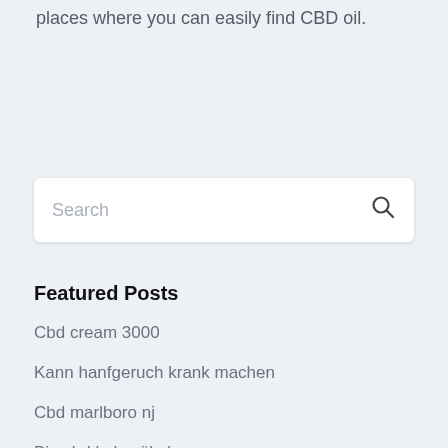places where you can easily find CBD oil.
[Figure (other): Search input box with placeholder text 'Search' and a magnifying glass icon on the right]
Featured Posts
Cbd cream 3000
Kann hanfgeruch krank machen
Cbd marlboro nj
Bio cbd kokosöl uk